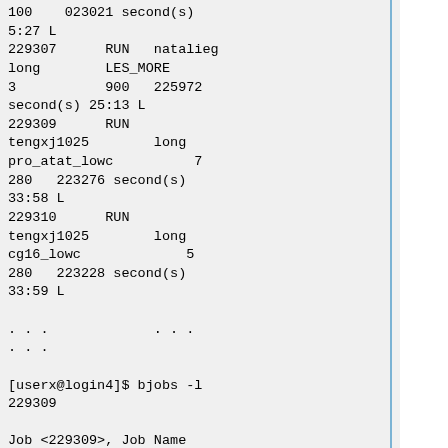100    023021 second(s)
5:27 L
229307      RUN   natalieg
long        LES_MORE
3           900   225972
second(s) 25:13 L
229309      RUN
tengxj1025        long
pro_atat_lowc          7
280   223276 second(s)
33:58 L
229310      RUN
tengxj1025        long
cg16_lowc             5
280   223228 second(s)
33:59 L

. . .             . . .
. . .

[userx@login4]$ bjobs -l
229309

Job <229309>, Job Name
<pro_atat_lowc>, User
<tengxj1025>, Project